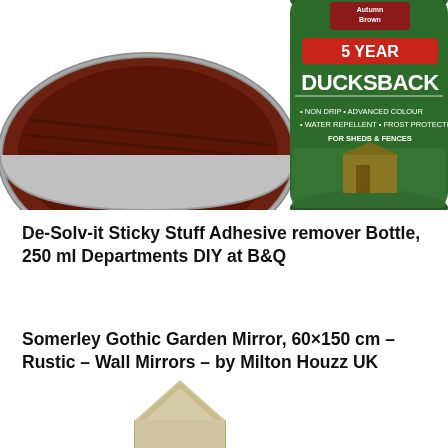[Figure (photo): A tin of Ronseal 5 Year Ducksback paint in Autumn Brown colour for sheds and fences, shown alongside an open tin revealing the dark brown paint inside. The green tin label reads '5 YEAR DUCKSBACK - NON DRIP - ADVANCED COLOUR - WATER REPELLENT - FROST PROTECTION FOR SHEDS & FENCES']
De-Solv-it Sticky Stuff Adhesive remover Bottle, 250 ml Departments DIY at B&Q
Somerley Gothic Garden Mirror, 60×150 cm – Rustic – Wall Mirrors – by Milton Houzz UK
[Figure (photo): Partial view of what appears to be a garden mirror or outdoor product, showing a pointed arch top in a light beige/stone colour]